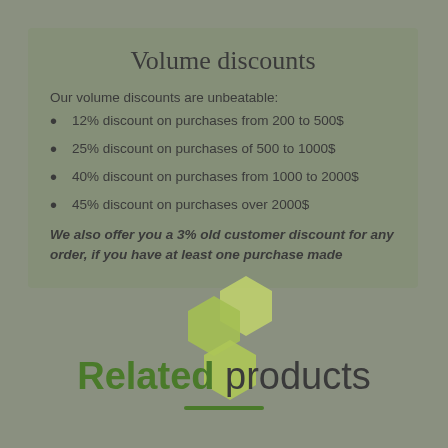Volume discounts
Our volume discounts are unbeatable:
12% discount on purchases from 200 to 500$
25% discount on purchases of 500 to 1000$
40% discount on purchases from 1000 to 2000$
45% discount on purchases over 2000$
We also offer you a 3% old customer discount for any order, if you have at least one purchase made
[Figure (illustration): Three overlapping green hexagon shapes used as decorative element]
Related products